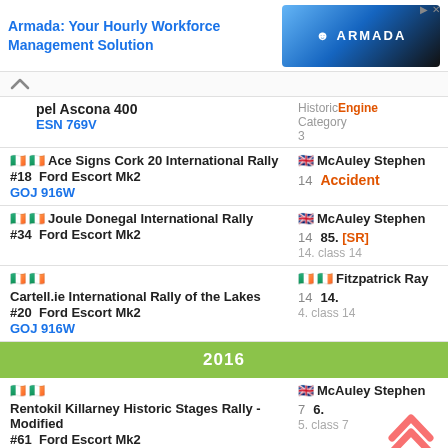[Figure (screenshot): Armada workforce management ad banner with app screenshot]
Opel Ascona 400 ESN 769V — Historic Engine Category 3
Ace Signs Cork 20 International Rally #18 Ford Escort Mk2 GOJ 916W — McAuley Stephen — 14 — Accident
Joule Donegal International Rally #34 Ford Escort Mk2 — McAuley Stephen — 14 — 85. [SR] 14. class 14
Cartell.ie International Rally of the Lakes #20 Ford Escort Mk2 GOJ 916W — Fitzpatrick Ray — 14 — 14. 4. class 14
2016
Rentokil Killarney Historic Stages Rally - Modified #61 Ford Escort Mk2 — McAuley Stephen — 7 — 6. 5. class 7